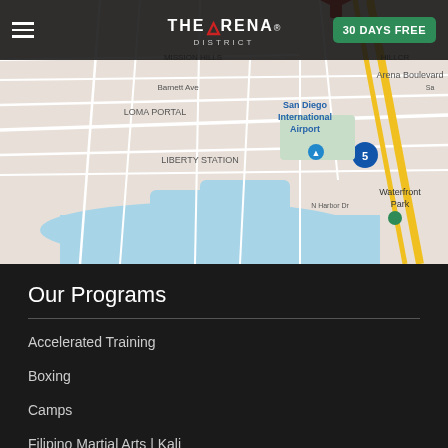THE ARENA DISTRICT | 30 DAYS FREE
[Figure (map): Google Maps view showing San Diego International Airport, Loma Portal, Liberty Station, Mission Hills, Waterfront Park, and surrounding streets. A blue location pin is visible near the airport area.]
Our Programs
Accelerated Training
Boxing
Camps
Filipino Martial Arts | Kali